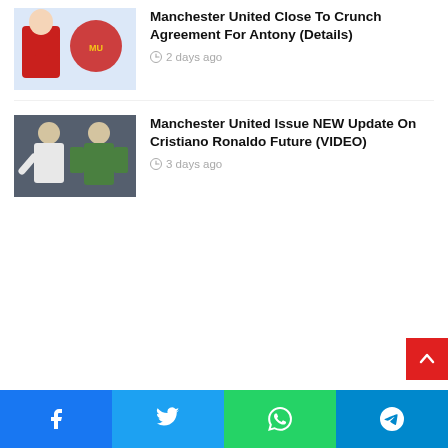[Figure (photo): Thumbnail photo of a Manchester United player in red kit with Manchester United badge, partially cropped at top]
Manchester United Close To Crunch Agreement For Antony (Details)
2 days ago
[Figure (photo): Thumbnail photo showing Erik ten Hag and Cristiano Ronaldo in green goalkeeper kit]
Manchester United Issue NEW Update On Cristiano Ronaldo Future (VIDEO)
3 days ago
Facebook  Twitter  WhatsApp  Telegram